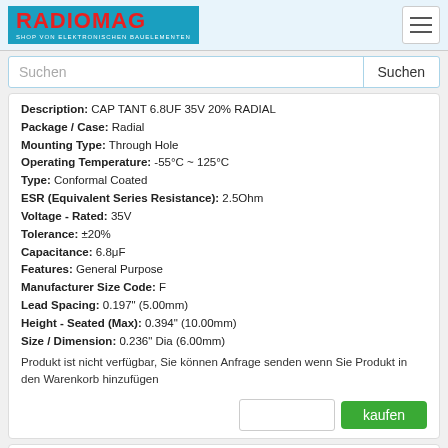RADIOMAG - SHOP VON ELEKTRONISCHEN BAUELEMENTEN
Suchen
Description: CAP TANT 6.8UF 35V 20% RADIAL
Package / Case: Radial
Mounting Type: Through Hole
Operating Temperature: -55°C ~ 125°C
Type: Conformal Coated
ESR (Equivalent Series Resistance): 2.5Ohm
Voltage - Rated: 35V
Tolerance: ±20%
Capacitance: 6.8μF
Features: General Purpose
Manufacturer Size Code: F
Lead Spacing: 0.197" (5.00mm)
Height - Seated (Max): 0.394" (10.00mm)
Size / Dimension: 0.236" Dia (6.00mm)
Produkt ist nicht verfügbar, Sie können Anfrage senden wenn Sie Produkt in den Warenkorb hinzufügen
kaufen
TAP685M035CRW
[Figure (other): PDF icon (red Adobe PDF logo)]
TAP685M035CRW